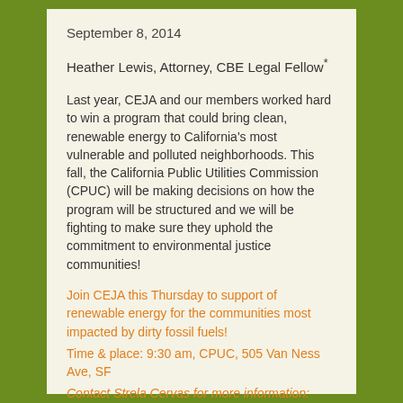September 8, 2014
Heather Lewis, Attorney, CBE Legal Fellow*
Last year, CEJA and our members worked hard to win a program that could bring clean, renewable energy to California's most vulnerable and polluted neighborhoods. This fall, the California Public Utilities Commission (CPUC) will be making decisions on how the program will be structured and we will be fighting to make sure they uphold the commitment to environmental justice communities!
Join CEJA this Thursday to support of renewable energy for the communities most impacted by dirty fossil fuels!
Time & place: 9:30 am, CPUC, 505 Van Ness Ave, SF
Contact Strela Cervas for more information: scervas [at] caleja.org
What are shared renewable programs and how can they help our communities?